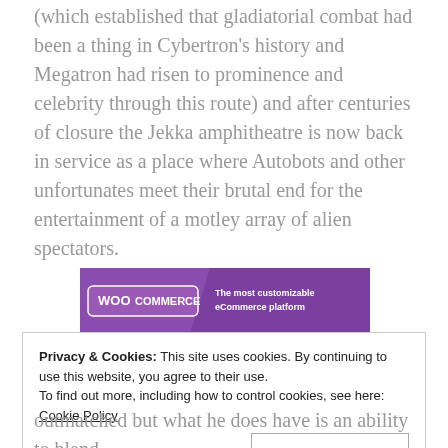(which established that gladiatorial combat had been a thing in Cybertron's history and Megatron had risen to prominence and celebrity through this route) and after centuries of closure the Jekka amphitheatre is now back in service as a place where Autobots and other unfortunates meet their brutal end for the entertainment of a motley array of alien spectators.
[Figure (screenshot): WooCommerce advertisement banner: purple background with WooCommerce logo on left and text 'The most customizable eCommerce platform' on right]
REPORT THIS AD
Privacy & Cookies: This site uses cookies. By continuing to use this website, you agree to their use.
To find out more, including how to control cookies, see here: Cookie Policy
Close and accept
outmatched but what he does have is an ability to blend